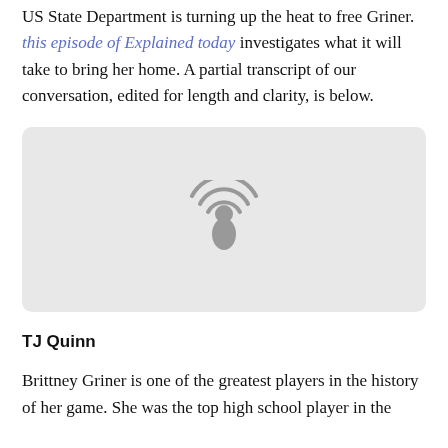US State Department is turning up the heat to free Griner. this episode of Explained today investigates what it will take to bring her home. A partial transcript of our conversation, edited for length and clarity, is below.
[Figure (other): Podcast player embed box with a podcast microphone/signal icon in gray on a light gray background]
TJ Quinn
Brittney Griner is one of the greatest players in the history of her game. She was the top high school player in the